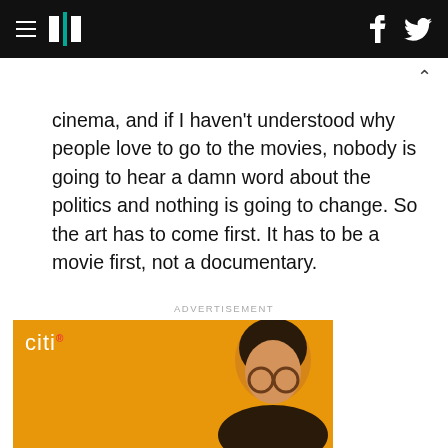HuffPost navigation with hamburger menu, logo, facebook and twitter icons
cinema, and if I haven't understood why people love to go to the movies, nobody is going to hear a damn word about the politics and nothing is going to change. So the art has to come first. It has to be a movie first, not a documentary.
ADVERTISEMENT
[Figure (photo): Citi advertisement banner featuring a man with glasses and dark hair on an orange/amber background with the Citi logo in white in the top left corner.]